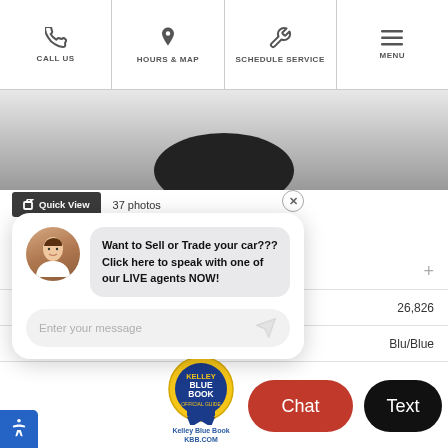CALL US | HOURS & MAP | SCHEDULE SERVICE | MENU
[Figure (screenshot): Partial car tire visible against gray gradient background]
Quick View  37 photos
[Figure (screenshot): Live chat popup with female agent avatar. Message: Want to Sell or Trade your car??? Click here to speak with one of our LIVE agents NOW! Input field: Enter your message]
SP
Mi  26,826
E  Blu/Blue
[Figure (logo): Kelley Blue Book official guide badge/seal. Text: Kelley Blue Book KBB.COM]
Chat
Text